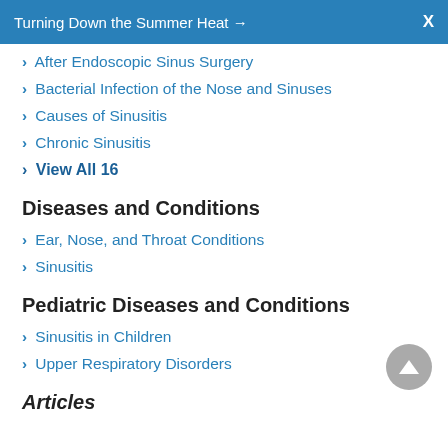Turning Down the Summer Heat → X
> After Endoscopic Sinus Surgery
> Bacterial Infection of the Nose and Sinuses
> Causes of Sinusitis
> Chronic Sinusitis
> View All 16
Diseases and Conditions
> Ear, Nose, and Throat Conditions
> Sinusitis
Pediatric Diseases and Conditions
> Sinusitis in Children
> Upper Respiratory Disorders
Articles